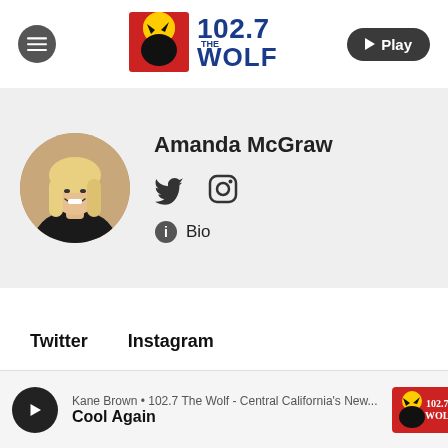[Figure (logo): 102.7 The Wolf radio station logo with wolf silhouette on red/orange square background and bold blue text]
[Figure (photo): Circular profile photo of Amanda McGraw, a woman with long blonde hair wearing a black top, smiling]
Amanda McGraw
[Figure (logo): Twitter bird icon (social media)]
[Figure (logo): Instagram camera icon (social media)]
Bio
Twitter   Instagram
Kane Brown • 102.7 The Wolf - Central California's New... Cool Again